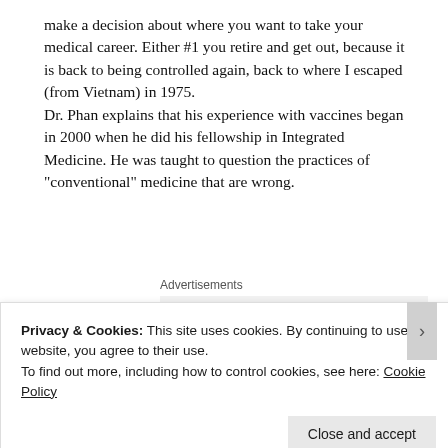make a decision about where you want to take your medical career. Either #1 you retire and get out, because it is back to being controlled again, back to where I escaped (from Vietnam) in 1975.
Dr. Phan explains that his experience with vaccines began in 2000 when he did his fellowship in Integrated Medicine. He was taught to question the practices of "conventional" medicine that are wrong.
Advertisements
[Figure (other): Advertisement for P2 product showing a logo with a dark square icon and the text 'P2', with bold tagline 'Getting your team on the same page is easy. And free.' on a light gray background.]
Privacy & Cookies: This site uses cookies. By continuing to use this website, you agree to their use.
To find out more, including how to control cookies, see here: Cookie Policy
Close and accept